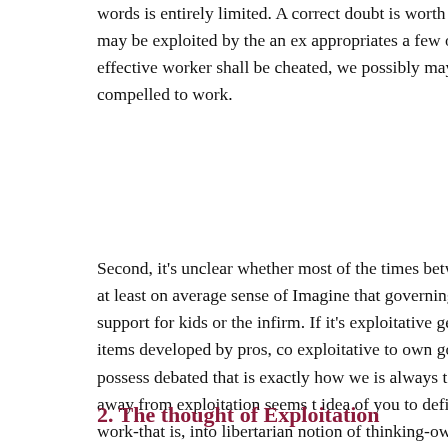words is entirely limited. A correct doubt is worth in thinking however seems possible that they may be exploited by the an ex appropriates a few of the value of the item the brand new worke An effective worker shall be cheated, we possibly may thought, wage though one worker try not compelled to work.
Second, it's unclear whether most of the times between the forc worth was necessarily exploitative, at least on average sense of Imagine that governing bodies taxation specialists and employ a support for kids or the infirm. If it's exploitative getting capitali of the property value the brand new items developed by pros, co exploitative to own government to do this using the new process possess debated that is exactly how we is always to see the coe Cohen, not, that Marxs account away from exploitation seems t idea of you to definitely experts individual the labor and you ma work-that is, into libertarian notion of thinking-ownership-is act 1995: Ch. 6).
2. The thought of Exploitation